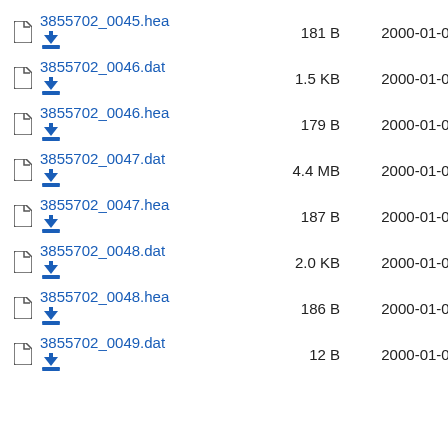3855702_0045.hea  181 B  2000-01-01
3855702_0046.dat  1.5 KB  2000-01-01
3855702_0046.hea  179 B  2000-01-01
3855702_0047.dat  4.4 MB  2000-01-01
3855702_0047.hea  187 B  2000-01-01
3855702_0048.dat  2.0 KB  2000-01-01
3855702_0048.hea  186 B  2000-01-01
3855702_0049.dat  12 B  2000-01-01